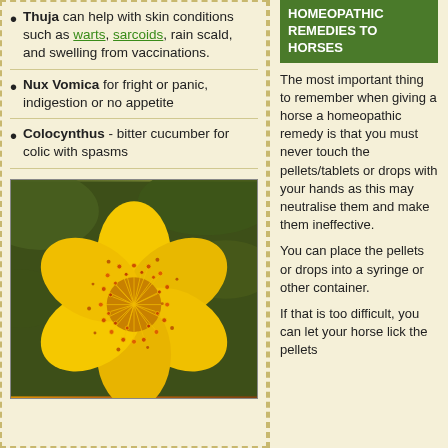Thuja can help with skin conditions such as warts, sarcoids, rain scald, and swelling from vaccinations.
Nux Vomica for fright or panic, indigestion or no appetite
Colocynthus - bitter cucumber for colic with spasms
[Figure (photo): Close-up photograph of a bright yellow flower with numerous orange-red stamens and five rounded petals, against a background of green leaves. Likely a St. John's Wort flower.]
HOMEOPATHIC REMEDIES TO HORSES
The most important thing to remember when giving a horse a homeopathic remedy is that you must never touch the pellets/tablets or drops with your hands as this may neutralise them and make them ineffective.
You can place the pellets or drops into a syringe or other container.
If that is too difficult, you can let your horse lick the pellets